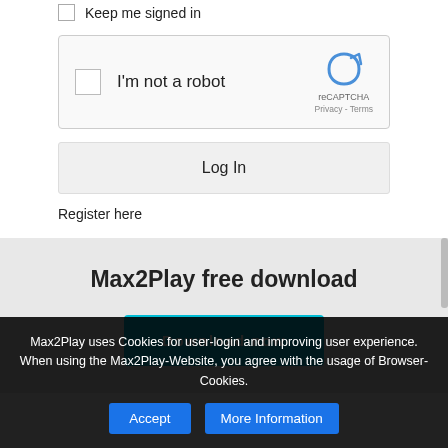Keep me signed in
[Figure (screenshot): reCAPTCHA widget with checkbox labeled I'm not a robot, and reCAPTCHA logo with Privacy and Terms links]
Log In
Register here
Max2Play free download
Download now
Max2Play uses Cookies for user-login and improving user experience. When using the Max2Play-Website, you agree with the usage of Browser-Cookies.
Accept
More Information